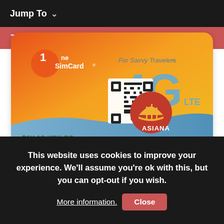Jump To
The Future of the SIM Card is HERE!
[Figure (photo): OneSimCard 4G LTE eSIM ASIANA card with orange-yellow gradient background, QR code on left, 4G LTE logo with Asiana circular emblem on right, text 'For Savvy Travelers', 'PAY-AS-YOU-GO', 'OneSimCard.com', 'eSIM ASIANA']
This website uses cookies to improve your experience. We'll assume you're ok with this, but you can opt-out if you wish.
More information. Close